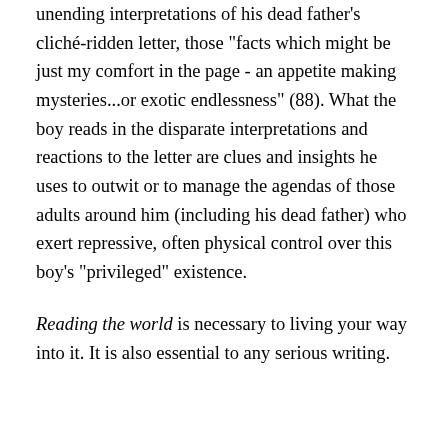unending interpretations of his dead father's cliché-ridden letter, those "facts which might be just my comfort in the page - an appetite making mysteries...or exotic endlessness" (88). What the boy reads in the disparate interpretations and reactions to the letter are clues and insights he uses to outwit or to manage the agendas of those adults around him (including his dead father) who exert repressive, often physical control over this boy's "privileged" existence.
Reading the world is necessary to living your way into it. It is also essential to any serious writing.